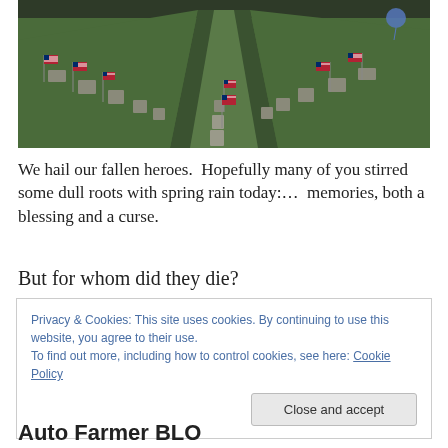[Figure (photo): Rows of American flags placed at military grave markers in a green cemetery, stretching into the distance with headstones visible between the flags.]
We hail our fallen heroes.  Hopefully many of you stirred some dull roots with spring rain today:…  memories, both a blessing and a curse.
But for whom did they die?
Privacy & Cookies: This site uses cookies. By continuing to use this website, you agree to their use.
To find out more, including how to control cookies, see here: Cookie Policy
Auto Farmer BLO